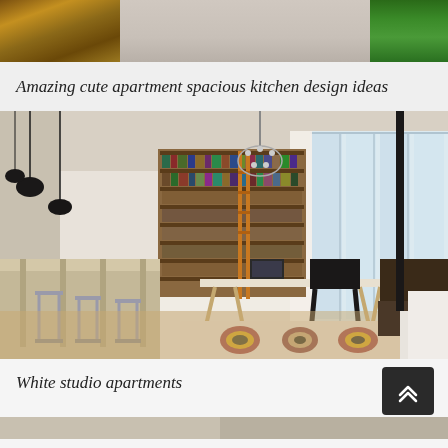[Figure (photo): Top strip: partial photo of wooden/brown objects on left, soft grey interior and green foliage on right]
Amazing cute apartment spacious kitchen design ideas
[Figure (photo): Large interior photo of a white studio apartment with high ceilings, large windows, bookshelf wall, chandelier, desk workspace, bar stools, and decorative rug]
White studio apartments